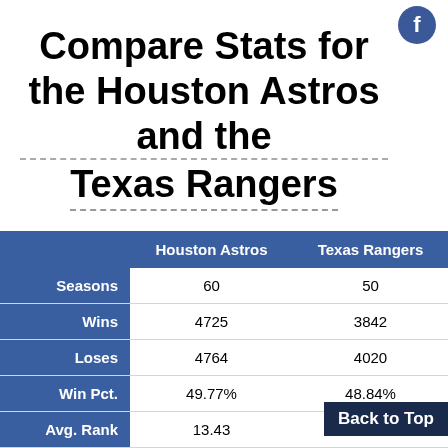Compare Stats for the Houston Astros and the Texas Rangers
|  | Houston Astros | Texas Rangers |
| --- | --- | --- |
| Seasons | 60 | 50 |
| Wins | 4725 | 3842 |
| Loses | 4764 | 4020 |
| Win Pct. | 49.77% | 48.84% |
| Avg. Rank | 13.43 | 15.58 |